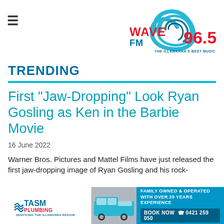[Figure (logo): Wave FM 96.5 radio station logo with teal wave graphic and red/teal text. Tagline: THE ILLAWARRA'S BEST MUSIC]
TRENDING
First "Jaw-Dropping" Look Ryan Gosling as Ken in the Barbie Movie
16 June 2022
Warner Bros. Pictures and Mattel Films have just released the first jaw-dropping image of Ryan Gosling and his rock-
[Figure (infographic): TASM Plumbing advertisement banner. Left: white background with TASM Plumbing logo and text SERVICING THE ILLAWARRA REGION. Middle: photo of a van. Right: blue background with FAMILY OWNED & OPERATED WITH OVER 20 YEARS EXPERIENCE, BOOK NOW phone 0421 259 050]